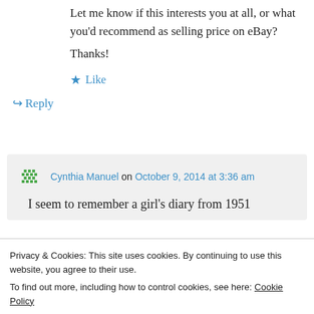Let me know if this interests you at all, or what you'd recommend as selling price on eBay?
Thanks!
★ Like
↪ Reply
Cynthia Manuel on October 9, 2014 at 3:36 am
I seem to remember a girl's diary from 1951
Privacy & Cookies: This site uses cookies. By continuing to use this website, you agree to their use. To find out more, including how to control cookies, see here: Cookie Policy
Close and accept